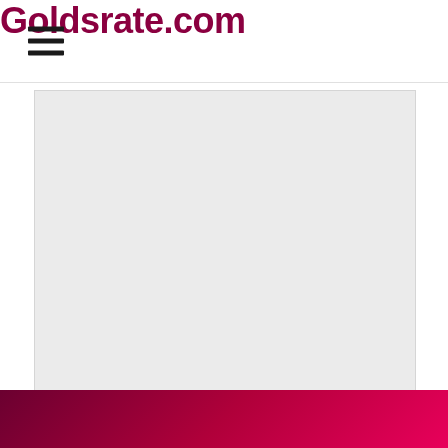Goldsrate.com
[Figure (other): Gray rectangular advertisement placeholder area]